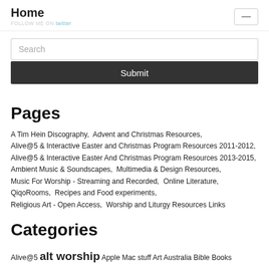Home
FOLLOW ME ON twitter
Search
Submit
Pages
A Tim Hein Discography,  Advent and Christmas Resources,  Alive@5 & Interactive Easter and Christmas Program Resources 2011-2012,  Alive@5 & Interactive Easter And Christmas Program Resources 2013-2015,  Ambient Music & Soundscapes,  Multimedia & Design Resources,  Music For Worship - Streaming and Recorded,  Online Literature,  QiqoRooms,  Recipes and Food experiments,  Religious Art - Open Access,  Worship and Liturgy Resources Links
Categories
Alive@5  alt worship  Apple Mac stuff  Art  Australia  Bible  Books